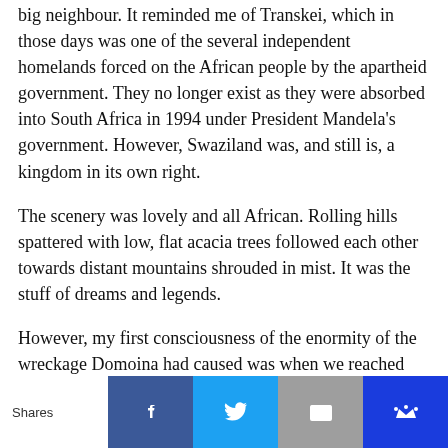big neighbour. It reminded me of Transkei, which in those days was one of the several independent homelands forced on the African people by the apartheid government. They no longer exist as they were absorbed into South Africa in 1994 under President Mandela's government. However, Swaziland was, and still is, a kingdom in its own right.
The scenery was lovely and all African. Rolling hills spattered with low, flat acacia trees followed each other towards distant mountains shrouded in mist. It was the stuff of dreams and legends.
However, my first consciousness of the enormity of the wreckage Domoina had caused was when we reached Big Bend. Until that point, we hadn't seen the flooded areas. In fact, we never got to see them at all, because our journey south ended at the bridge over the Lusutfu